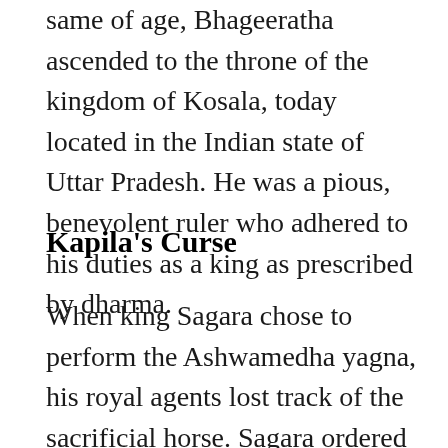same of age, Bhageeratha ascended to the throne of the kingdom of Kosala, today located in the Indian state of Uttar Pradesh. He was a pious, benevolent ruler who adhered to his duties as a king as prescribed by dharma.
Kapila's Curse
When king Sagara chose to perform the Ashwamedha yagna, his royal agents lost track of the sacrificial horse. Sagara ordered his sixty thousand sons by Sumati to track down the horse. The proud and mercurial princes raged across Bharat, burning down forests and uprooting life and property to find the horse. They finally arrived